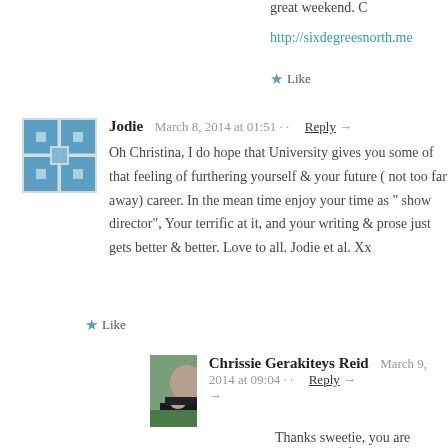great weekend. C
http://sixdegreesnorth.me
★ Like
Jodie   March 8, 2014 at 01:51  ··  Reply →
Oh Christina, I do hope that University gives you some of that feeling of furthering yourself & your future ( not too far away) career. In the mean time enjoy your time as " show director", Your terrific at it, and your writing & prose just gets better & better. Love to all. Jodie et al. Xx
★ Like
Chrissie Gerakiteys Reid   March 9, 2014 at 09:04  ··  Reply →
Thanks sweetie, you are lovely. Hopefully see you soon….C
★ Like